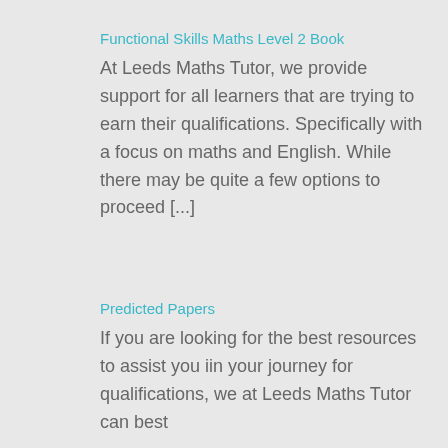Functional Skills Maths Level 2 Book
At Leeds Maths Tutor, we provide support for all learners that are trying to earn their qualifications. Specifically with a focus on maths and English. While there may be quite a few options to proceed [...]
Predicted Papers
If you are looking for the best resources to assist you iin your journey for qualifications, we at Leeds Maths Tutor can best